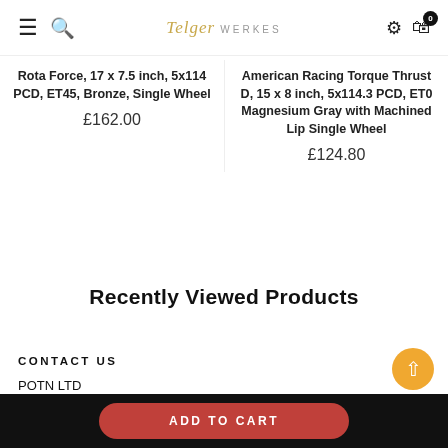Telger WERKES
Rota Force, 17 x 7.5 inch, 5x114 PCD, ET45, Bronze, Single Wheel
£162.00
American Racing Torque Thrust D, 15 x 8 inch, 5x114.3 PCD, ET0 Magnesium Gray with Machined Lip Single Wheel
£124.80
Recently Viewed Products
CONTACT US
POTN LTD
40 Huxley Close
Park Farm IND EST
ADD TO CART